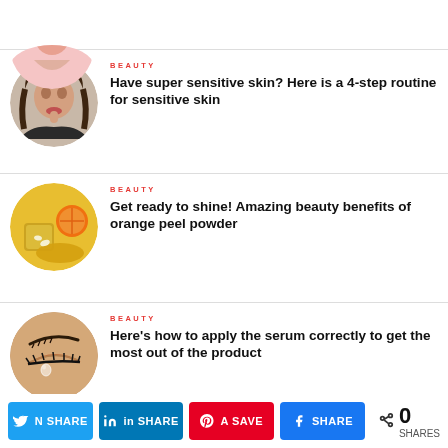[Figure (photo): Partial circular thumbnail of a woman's face at the top of the page (cropped)]
[Figure (photo): Circular thumbnail of a woman applying makeup/product to her lips]
BEAUTY
Have super sensitive skin? Here is a 4-step routine for sensitive skin
[Figure (photo): Circular thumbnail of turmeric powder, orange and spices]
BEAUTY
Get ready to shine! Amazing beauty benefits of orange peel powder
[Figure (photo): Circular thumbnail of a close-up eye with serum drop]
BEAUTY
Here's how to apply the serum correctly to get the most out of the product
0 SHARES